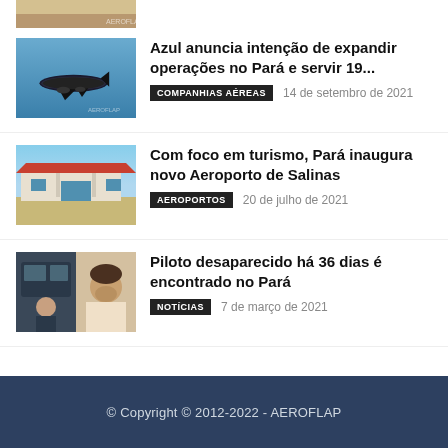[Figure (photo): Partial top image, cropped view]
[Figure (photo): Azul airline plane in flight against blue sky]
Azul anuncia intenção de expandir operações no Pará e servir 19...
COMPANHIAS AÉREAS   14 de setembro de 2021
[Figure (photo): Airport terminal building with red roof, parking area in front]
Com foco em turismo, Pará inaugura novo Aeroporto de Salinas
AEROPORTOS   20 de julho de 2021
[Figure (photo): Two photos side by side: pilot in cockpit and man portrait]
Piloto desaparecido há 36 dias é encontrado no Pará
NOTÍCIAS   7 de março de 2021
© Copyright © 2012-2022 - AEROFLAP